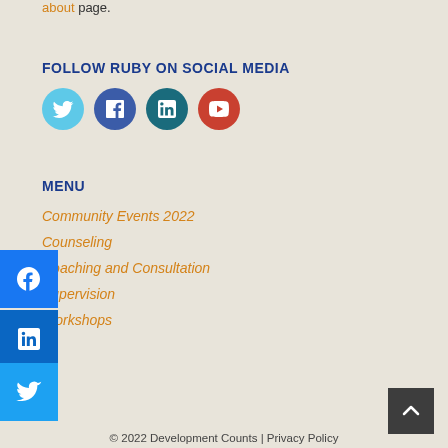about page.
FOLLOW RUBY ON SOCIAL MEDIA
[Figure (infographic): Four social media icons: Twitter (light blue circle), Facebook (dark blue circle), LinkedIn (teal circle), YouTube (red circle)]
MENU
Community Events 2022
Counseling
Coaching and Consultation
Supervision
Workshops
© 2022 Development Counts | Privacy Policy